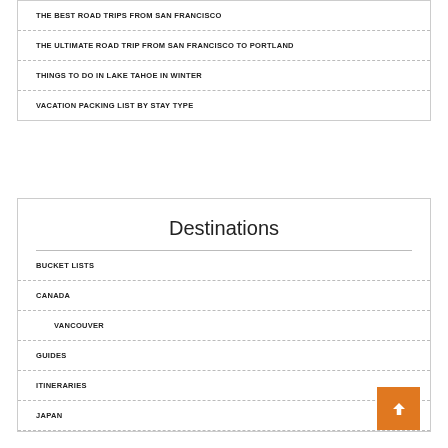THE BEST ROAD TRIPS FROM SAN FRANCISCO
THE ULTIMATE ROAD TRIP FROM SAN FRANCISCO TO PORTLAND
THINGS TO DO IN LAKE TAHOE IN WINTER
VACATION PACKING LIST BY STAY TYPE
Destinations
BUCKET LISTS
CANADA
VANCOUVER
GUIDES
ITINERARIES
JAPAN